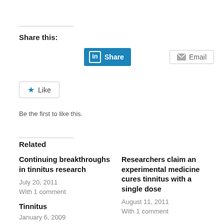Share this:
[Figure (screenshot): LinkedIn Share button (blue) and Email button (grey outline) for sharing the article]
[Figure (screenshot): Like button with blue star icon]
Be the first to like this.
Related
Continuing breakthroughs in tinnitus research
July 20, 2011
With 1 comment
Researchers claim an experimental medicine cures tinnitus with a single dose
August 11, 2011
With 1 comment
Tinnitus
January 6, 2009